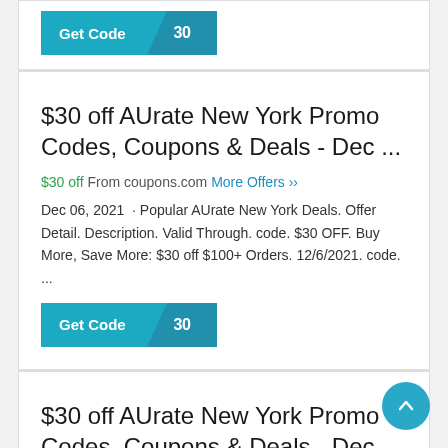[Figure (screenshot): Get Code button with '30' code tab, teal colored]
$30 off AUrate New York Promo Codes, Coupons & Deals - Dec ...
$30 off From coupons.com More Offers »»
Dec 06, 2021 · Popular AUrate New York Deals. Offer Detail. Description. Valid Through. code. $30 OFF. Buy More, Save More: $30 off $100+ Orders. 12/6/2021. code. ...
[Figure (screenshot): Get Code button with '30' code tab, teal colored]
$30 off AUrate New York Promo Codes, Coupons & Deals - Dec ...